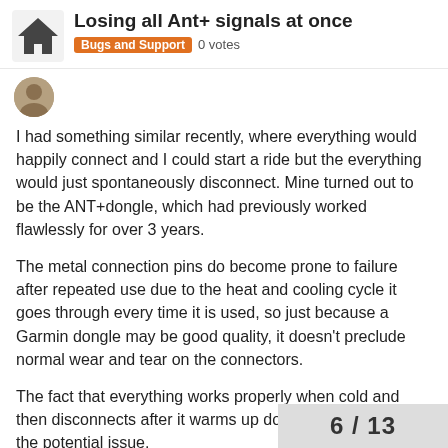Losing all Ant+ signals at once | Bugs and Support  0 votes
I had something similar recently, where everything would happily connect and I could start a ride but the everything would just spontaneously disconnect. Mine turned out to be the ANT+dongle, which had previously worked flawlessly for over 3 years.
The metal connection pins do become prone to failure after repeated use due to the heat and cooling cycle it goes through every time it is used, so just because a Garmin dongle may be good quality, it doesn't preclude normal wear and tear on the connectors.
The fact that everything works properly when cold and then disconnects after it warms up does point to that as the potential issue.
6 / 13